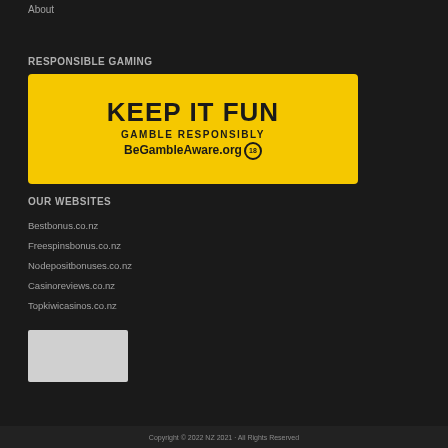About
RESPONSIBLE GAMING
[Figure (infographic): Yellow banner with text: KEEP IT FUN, GAMBLE RESPONSIBLY, BeGambleAware.org with 18+ circle icon]
OUR WEBSITES
Bestbonus.co.nz
Freespinsbonus.co.nz
Nodepositbonuses.co.nz
Casinoreviews.co.nz
Topkiwicasinos.co.nz
[Figure (logo): Gray placeholder logo box]
Copyright © 2022 NZ 2021 · All Rights Reserved